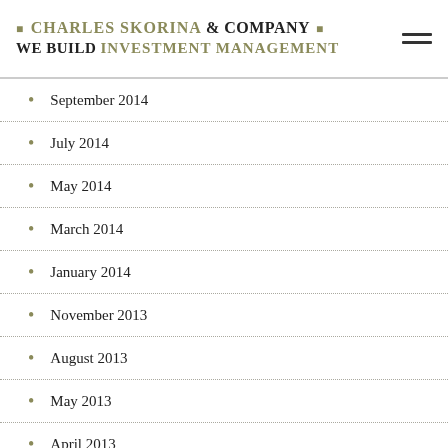CHARLES SKORINA & COMPANY — WE BUILD INVESTMENT MANAGEMENT
September 2014
July 2014
May 2014
March 2014
January 2014
November 2013
August 2013
May 2013
April 2013
December 2012